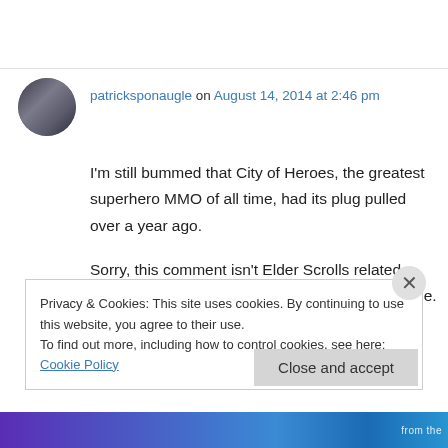patricksponaugle on August 14, 2014 at 2:46 pm
I'm still bummed that City of Heroes, the greatest superhero MMO of all time, had its plug pulled over a year ago.
Sorry, this comment isn't Elder Scrolls related. Your post just brought back the MMOstalgia in me. And tears.
Privacy & Cookies: This site uses cookies. By continuing to use this website, you agree to their use. To find out more, including how to control cookies, see here: Cookie Policy
Close and accept